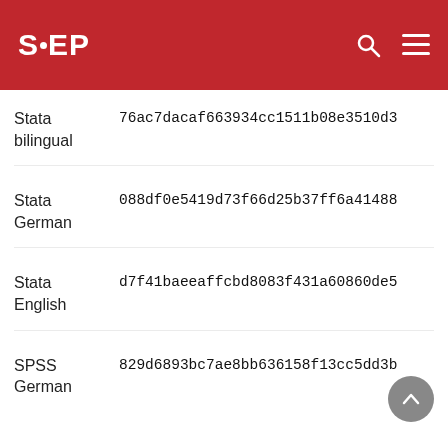SOEP
| Format | Hash |
| --- | --- |
| Stata bilingual | 76ac7dacaf663934cc1511b08e3510d3 |
| Stata German | 088df0e5419d73f66d25b37ff6a41488 |
| Stata English | d7f41baeeaffcbd8083f431a60860de5 |
| SPSS German | 829d6893bc7ae8bb636158f13cc5dd3b |